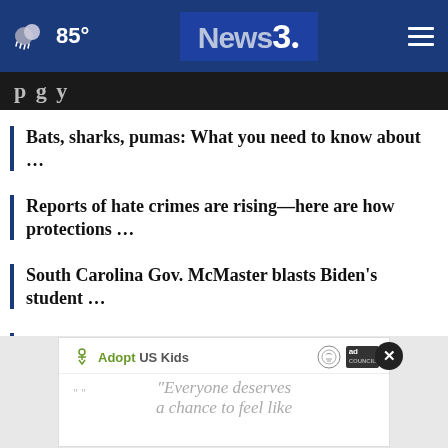85° News3
Bats, sharks, pumas: What you need to know about …
Reports of hate crimes are rising—here are how protections …
South Carolina Gov. McMaster blasts Biden's student …
How do I know if I have a Pell Grant?
[Figure (screenshot): AdoptUSKids advertisement with quote 'Everyone deserves a chance to feel like']